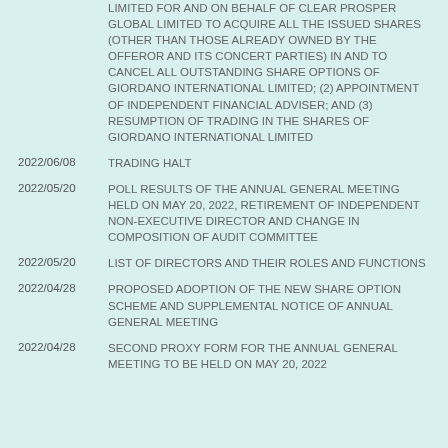LIMITED FOR AND ON BEHALF OF CLEAR PROSPER GLOBAL LIMITED TO ACQUIRE ALL THE ISSUED SHARES (OTHER THAN THOSE ALREADY OWNED BY THE OFFEROR AND ITS CONCERT PARTIES) IN AND TO CANCEL ALL OUTSTANDING SHARE OPTIONS OF GIORDANO INTERNATIONAL LIMITED; (2) APPOINTMENT OF INDEPENDENT FINANCIAL ADVISER; AND (3) RESUMPTION OF TRADING IN THE SHARES OF GIORDANO INTERNATIONAL LIMITED
2022/06/08  TRADING HALT
2022/05/20  POLL RESULTS OF THE ANNUAL GENERAL MEETING HELD ON MAY 20, 2022, RETIREMENT OF INDEPENDENT NON-EXECUTIVE DIRECTOR AND CHANGE IN COMPOSITION OF AUDIT COMMITTEE
2022/05/20  LIST OF DIRECTORS AND THEIR ROLES AND FUNCTIONS
2022/04/28  PROPOSED ADOPTION OF THE NEW SHARE OPTION SCHEME AND SUPPLEMENTAL NOTICE OF ANNUAL GENERAL MEETING
2022/04/28  SECOND PROXY FORM FOR THE ANNUAL GENERAL MEETING TO BE HELD ON MAY 20, 2022